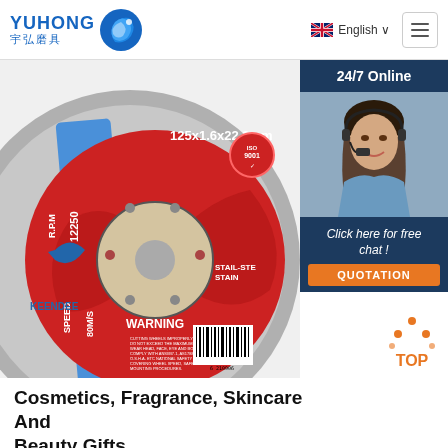[Figure (logo): Yuhong 宇弘磨具 logo with blue wave/fish icon]
English ∨
[Figure (photo): Keendee brand cutting/grinding disc, 125x1.6x22.2mm, R.P.M 12250, Speed 80M/S, WARNING text, barcode, ISO 9001, red and grey disc on white background. Overlay chat panel with 24/7 Online, woman with headset photo, Click here for free chat!, QUOTATION button.]
[Figure (logo): TOP icon with orange dots and text]
Cosmetics, Fragrance, Skincare And Beauty Gifts